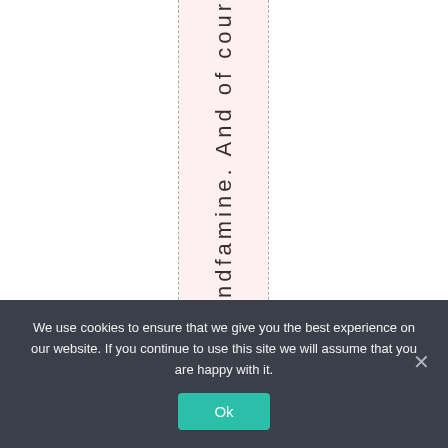ndfamine. And of cour
We use cookies to ensure that we give you the best experience on our website. If you continue to use this site we will assume that you are happy with it.